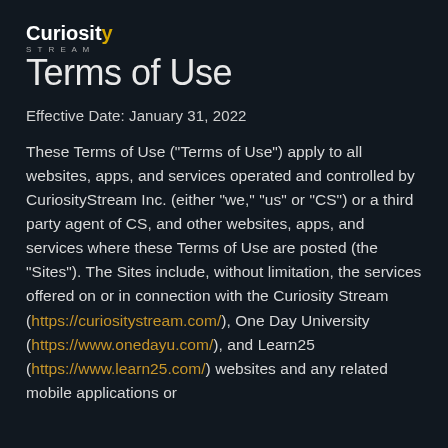CuriosityStream
Terms of Use
Effective Date: January 31, 2022
These Terms of Use ("Terms of Use") apply to all websites, apps, and services operated and controlled by CuriosityStream Inc. (either "we," "us" or "CS") or a third party agent of CS, and other websites, apps, and services where these Terms of Use are posted (the "Sites"). The Sites include, without limitation, the services offered on or in connection with the Curiosity Stream (https://curiositystream.com/), One Day University (https://www.onedayu.com/), and Learn25 (https://www.learn25.com/) websites and any related mobile applications or